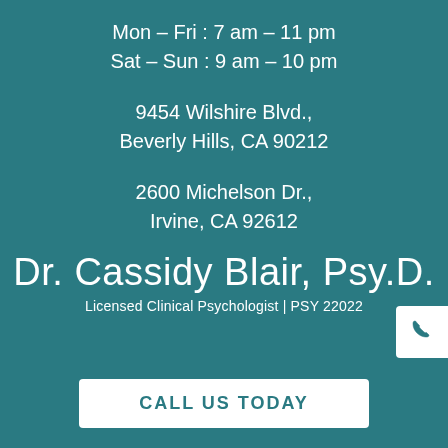Mon – Fri : 7 am – 11 pm
Sat – Sun : 9 am – 10 pm
9454 Wilshire Blvd.,
Beverly Hills, CA 90212
2600 Michelson Dr.,
Irvine, CA 92612
Dr. Cassidy Blair, Psy.D.
Licensed Clinical Psychologist | PSY 22022
CALL US TODAY